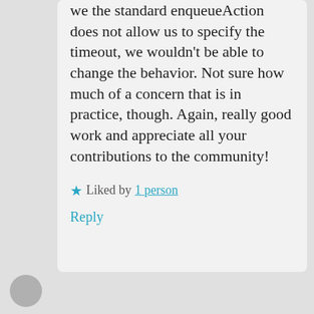from the page. Since we the standard enqueueAction does not allow us to specify the timeout, we wouldn't be able to change the behavior. Not sure how much of a concern that is in practice, though. Again, really good work and appreciate all your contributions to the community!
Liked by 1 person
Reply